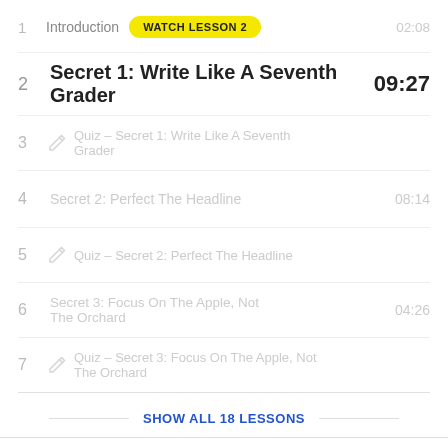1  Introduction  WATCH LESSON 2  02:08
2  Secret 1: Write Like A Seventh Grader  09:27
3  Quiz - Secret 1: Write Like A Seventh Grader
4  Secret 2: Perfect The Headline  08:14
5  Quiz - Secret 2: Perfect The Headline
6  Secret 3: Focus On The Apple, Not The Orchard  04:26
7  Quiz - Secret 3: Focus On The Apple, Not The Orchard
SHOW ALL 18 LESSONS
LESSON INFO